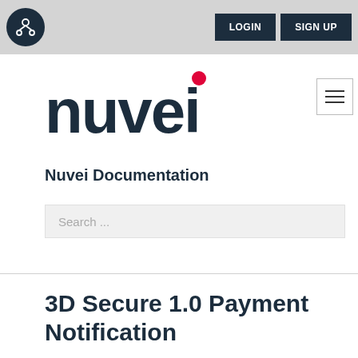LOGIN  SIGN UP
[Figure (logo): Nuvei logo with red dot over the 'i']
Nuvei Documentation
Search ...
3D Secure 1.0 Payment Notification